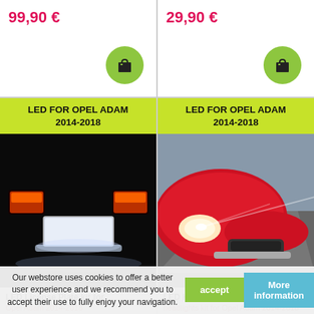99,90 €
29,90 €
[Figure (photo): LED License Plate lighting on a dark car rear showing illuminated license plate area]
LED FOR OPEL ADAM 2014-2018
LED License Plate kit for Opel Adam 2014-2018
[Figure (photo): Red car front with bright LED headlights on a road]
LED FOR OPEL ADAM 2014-2018
LED High beam headlights kit for Opel Adam 2014-2018
Our webstore uses cookies to offer a better user experience and we recommend you to accept their use to fully enjoy your navigation.